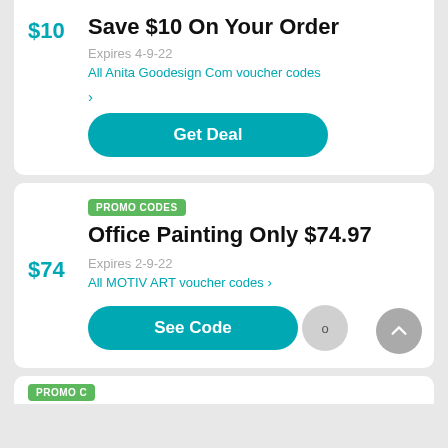Save $10 On Your Order
Expires 4-9-22
All Anita Goodesign Com voucher codes
Get Deal
PROMO CODES
Office Painting Only $74.97
Expires 2-9-22
All MOTIV ART voucher codes >
See Code